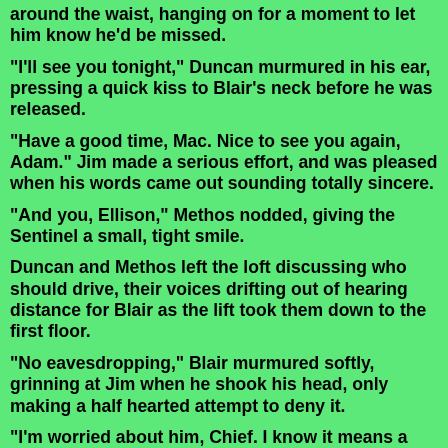around the waist, hanging on for a moment to let him know he'd be missed.
"I'll see you tonight," Duncan murmured in his ear, pressing a quick kiss to Blair's neck before he was released.
"Have a good time, Mac. Nice to see you again, Adam." Jim made a serious effort, and was pleased when his words came out sounding totally sincere.
"And you, Ellison," Methos nodded, giving the Sentinel a small, tight smile.
Duncan and Methos left the loft discussing who should drive, their voices drifting out of hearing distance for Blair as the lift took them down to the first floor.
"No eavesdropping," Blair murmured softly, grinning at Jim when he shook his head, only making a half hearted attempt to deny it.
"I'm worried about him, Chief. I know it means a hell of a lot to Mac to have this ancient friend hired."